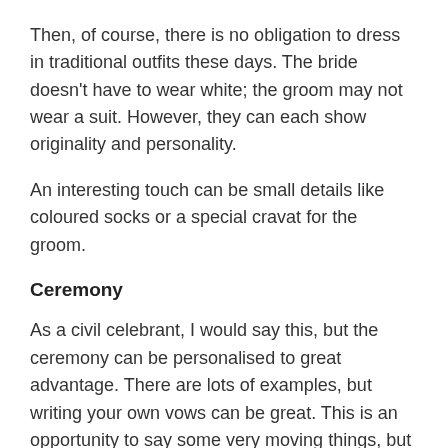Then, of course, there is no obligation to dress in traditional outfits these days. The bride doesn't have to wear white; the groom may not wear a suit. However, they can each show originality and personality.
An interesting touch can be small details like coloured socks or a special cravat for the groom.
Ceremony
As a civil celebrant, I would say this, but the ceremony can be personalised to great advantage. There are lots of examples, but writing your own vows can be great. This is an opportunity to say some very moving things, but also display humour and affection.
There could also be a choice of ritual, and the whole service can reflect the couple's personalities and